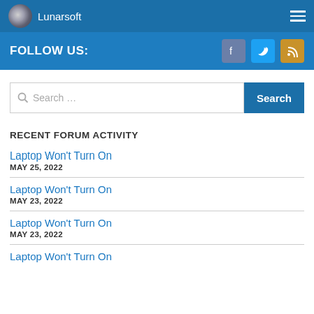Lunarsoft
FOLLOW US:
Search ...
RECENT FORUM ACTIVITY
Laptop Won't Turn On
MAY 25, 2022
Laptop Won't Turn On
MAY 23, 2022
Laptop Won't Turn On
MAY 23, 2022
Laptop Won't Turn On